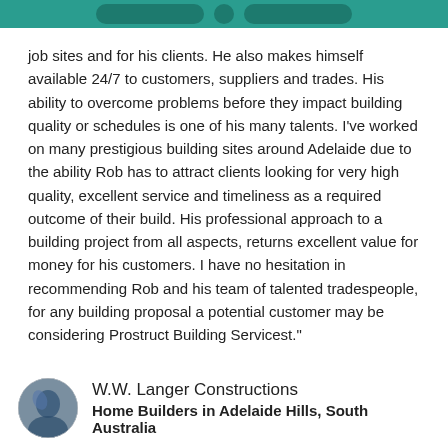[Figure (other): Green banner with pill-shaped buttons at top of page]
job sites and for his clients. He also makes himself available 24/7 to customers, suppliers and trades. His ability to overcome problems before they impact building quality or schedules is one of his many talents. I've worked on many prestigious building sites around Adelaide due to the ability Rob has to attract clients looking for very high quality, excellent service and timeliness as a required outcome of their build. His professional approach to a building project from all aspects, returns excellent value for money for his customers. I have no hesitation in recommending Rob and his team of talented tradespeople, for any building proposal a potential customer may be considering Prostruct Building Servicest."
W.W. Langer Constructions
Home Builders in Adelaide Hills, South Australia